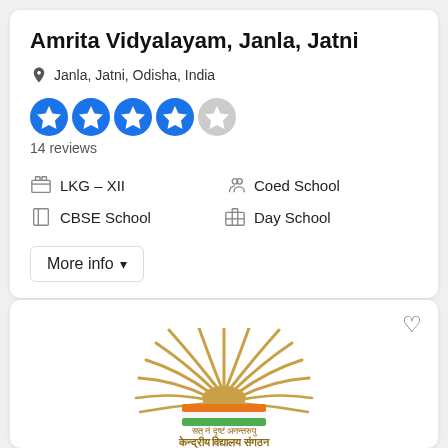Amrita Vidyalayam, Janla, Jatni
Janla, Jatni, Odisha, India
4 out of 5 stars, 14 reviews
LKG - XII
CBSE School
Coed School
Day School
More info
[Figure (logo): Kendriya Vidyalaya Sangathan logo with a rising sun over an open book with Indian flag colors (orange, white, green) and Devanagari text]